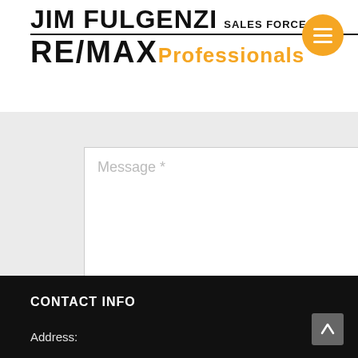JIM FULGENZI SALES FORCE RE/MAX Professionals
[Figure (screenshot): Message textarea input field with placeholder text 'Message *' and a resize handle in the bottom right corner]
SUBMIT
CONTACT INFO
Address: